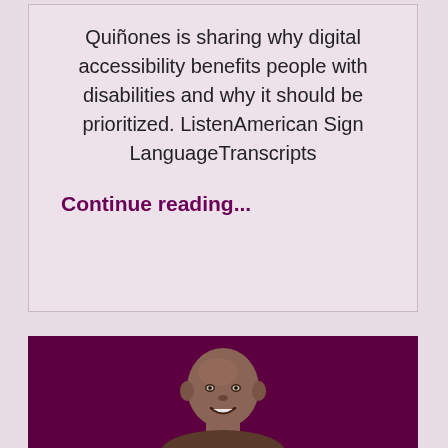Quiñones is sharing why digital accessibility benefits people with disabilities and why it should be prioritized. ListenAmerican Sign LanguageTranscripts
Continue reading...
[Figure (photo): A smiling bald Black man photographed from the shoulders up against a dark purple/maroon background.]